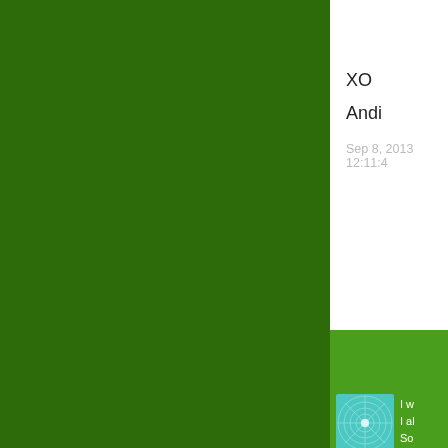XO
Andi
Sep 8, 2013 12:11:4
Comm
67 Commen
[Figure (illustration): Teal/blue geometric tunnel illustration used as avatar]
I w
I al
So
[Figure (illustration): Purple/blue geometric star burst pattern used as avatar]
Oh
but
Gre
It's